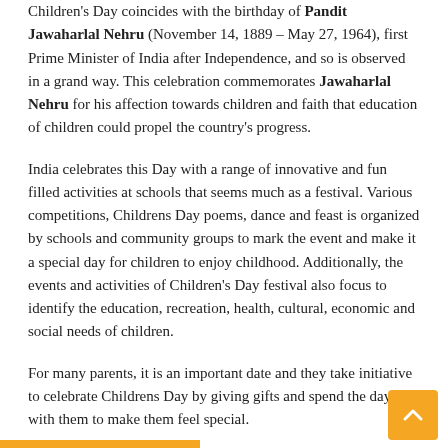Children's Day coincides with the birthday of Pandit Jawaharlal Nehru (November 14, 1889 – May 27, 1964), first Prime Minister of India after Independence, and so is observed in a grand way. This celebration commemorates Jawaharlal Nehru for his affection towards children and faith that education of children could propel the country's progress.
India celebrates this Day with a range of innovative and fun filled activities at schools that seems much as a festival. Various competitions, Childrens Day poems, dance and feast is organized by schools and community groups to mark the event and make it a special day for children to enjoy childhood. Additionally, the events and activities of Children's Day festival also focus to identify the education, recreation, health, cultural, economic and social needs of children.
For many parents, it is an important date and they take initiative to celebrate Childrens Day by giving gifts and spend the day with them to make them feel special.
The enthusiasm of festival can also be witnessed in the practice of